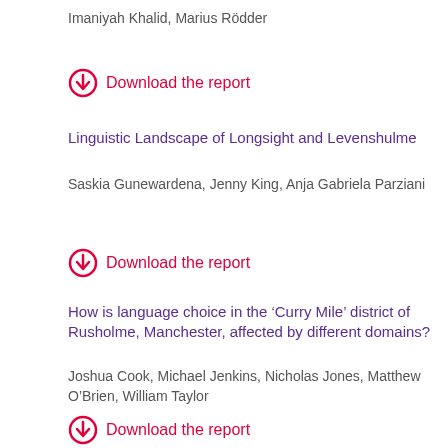Imaniyah Khalid, Marius Rödder
Download the report
Linguistic Landscape of Longsight and Levenshulme
Saskia Gunewardena, Jenny King, Anja Gabriela Parziani
Download the report
How is language choice in the ‘Curry Mile’ district of Rusholme, Manchester, affected by different domains?
Joshua Cook, Michael Jenkins, Nicholas Jones, Matthew O’Brien, William Taylor
Download the report